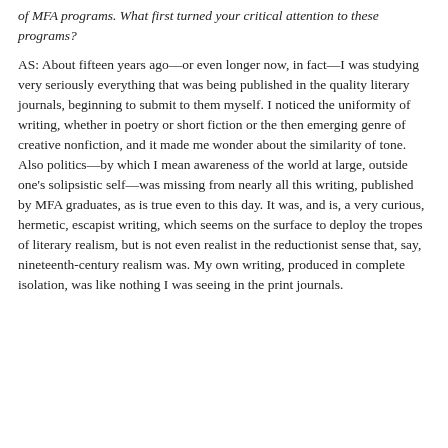of MFA programs. What first turned your critical attention to these programs?
AS: About fifteen years ago—or even longer now, in fact—I was studying very seriously everything that was being published in the quality literary journals, beginning to submit to them myself. I noticed the uniformity of writing, whether in poetry or short fiction or the then emerging genre of creative nonfiction, and it made me wonder about the similarity of tone. Also politics—by which I mean awareness of the world at large, outside one's solipsistic self—was missing from nearly all this writing, published by MFA graduates, as is true even to this day. It was, and is, a very curious, hermetic, escapist writing, which seems on the surface to deploy the tropes of literary realism, but is not even realist in the reductionist sense that, say, nineteenth-century realism was. My own writing, produced in complete isolation, was like nothing I was seeing in the print journals.